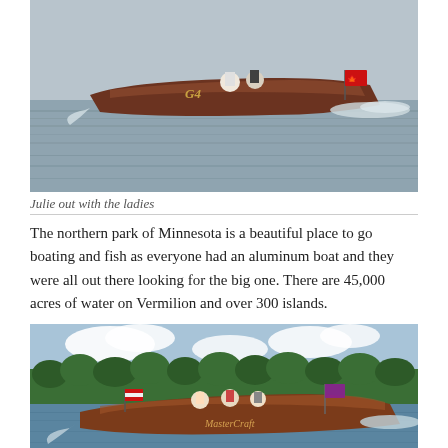[Figure (photo): A wooden speedboat labeled G4 racing on a lake with two passengers, creating a wake. The boat is photographed from the side on a grey-silver lake surface.]
Julie out with the ladies
The northern park of Minnesota is a beautiful place to go boating and fish as everyone had an aluminum boat and they were all out there looking for the big one. There are 45,000 acres of water on Vermilion and over 300 islands.
[Figure (photo): A classic wooden mahogany speedboat with several passengers cruising on a lake, with forested shoreline in the background. The boat has a flag and an American flag decoration.]